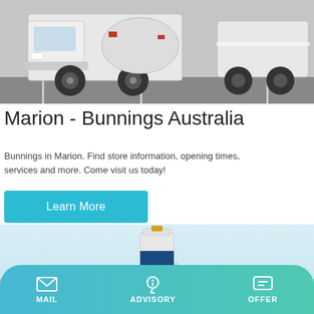[Figure (photo): White heavy trucks/cement mixer vehicles parked in a parking lot, viewed from front-low angle]
Marion - Bunnings Australia
Bunnings in Marion. Find store information, opening times, services and more. Come visit us today!
Learn More
[Figure (photo): Industrial silo or lighthouse structure against a pale blue sky]
MAIL   ADVISORY   OFFER